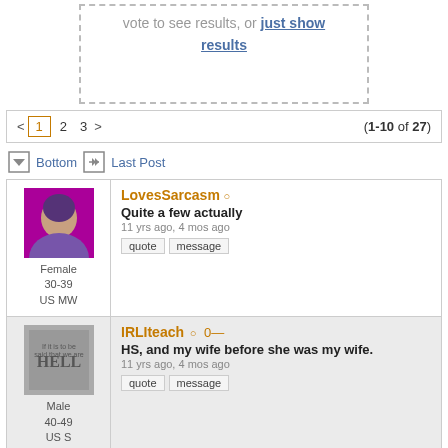Vote to see results, or just show results
< 1 2 3 > (1-10 of 27)
Bottom  Last Post
LovesSarcasm
Quite a few actually
11 yrs ago, 4 mos ago
quote | message
Female 30-39 US MW
IRLIteach
HS, and my wife before she was my wife.
11 yrs ago, 4 mos ago
quote | message
Male 40-49 US S
Dinosore
moderator
None. Always liked the idea though.